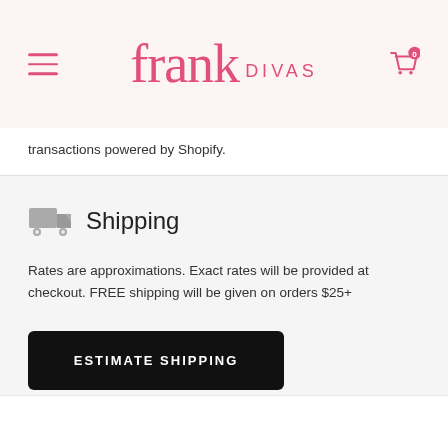Frank Divas
transactions powered by Shopify.
Shipping
Rates are approximations. Exact rates will be provided at checkout. FREE shipping will be given on orders $25+
ESTIMATE SHIPPING